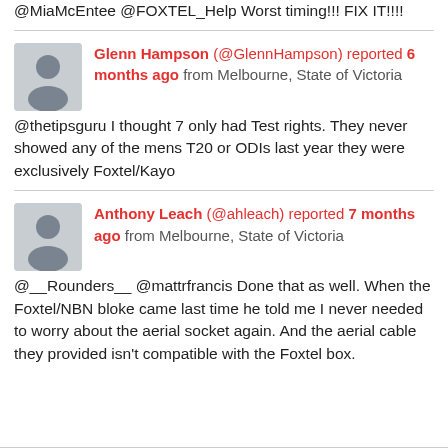@MiaMcEntee @FOXTEL_Help Worst timing!!! FIX IT!!!!
Glenn Hampson (@GlennHampson) reported 6 months ago from Melbourne, State of Victoria
@thetipsguru I thought 7 only had Test rights. They never showed any of the mens T20 or ODIs last year they were exclusively Foxtel/Kayo
Anthony Leach (@ahleach) reported 7 months ago from Melbourne, State of Victoria
@__Rounders__ @mattrfrancis Done that as well. When the Foxtel/NBN bloke came last time he told me I never needed to worry about the aerial socket again. And the aerial cable they provided isn't compatible with the Foxtel box.